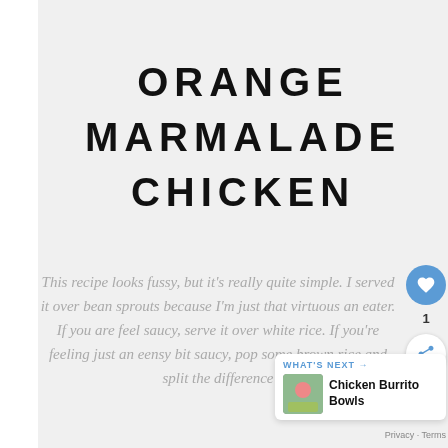ORANGE MARMALADE CHICKEN
This recipe looks fussy, but it's really quite simple. I served it over bean sprouts because I'm just that virtuous an eater. If you are feeling saucy, serve it over white rice. If you're feeling just an eensy bit saucy, pop some brown rice and split the difference